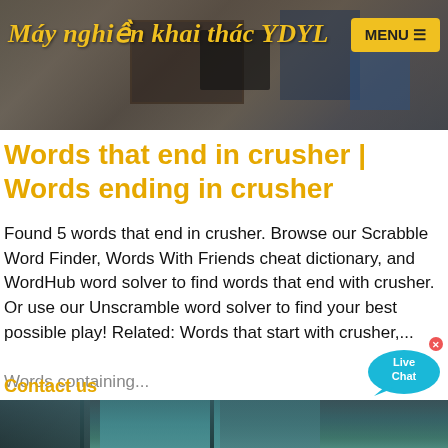[Figure (screenshot): Website header banner with industrial machinery photos in background]
Máy nghiền khai thác YDYL
Words that end in crusher | Words ending in crusher
Found 5 words that end in crusher. Browse our Scrabble Word Finder, Words With Friends cheat dictionary, and WordHub word solver to find words that end with crusher. Or use our Unscramble word solver to find your best possible play! Related: Words that start with crusher,...
Contact us
[Figure (photo): Bottom portion showing industrial crusher equipment against blue sky]